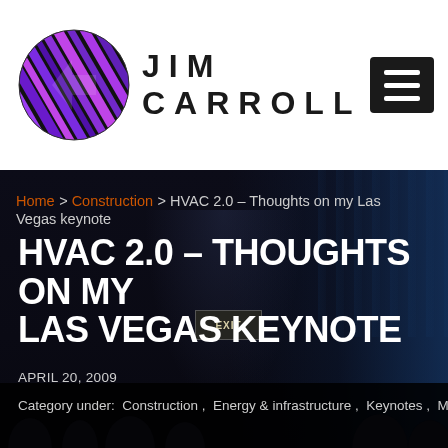JIM CARROLL
Home > Construction > HVAC 2.0 – Thoughts on my Las Vegas keynote
[Figure (photo): Dark auditorium/conference room photo with stage lighting and silhouetted audience]
HVAC 2.0 – THOUGHTS ON MY LAS VEGAS KEYNOTE
APRIL 20, 2009
Category under: Construction , Energy & infrastructure , Keynotes , Major trend